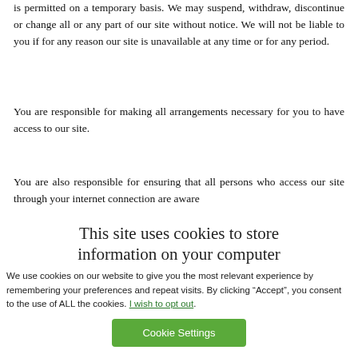is permitted on a temporary basis. We may suspend, withdraw, discontinue or change all or any part of our site without notice. We will not be liable to you if for any reason our site is unavailable at any time or for any period.
You are responsible for making all arrangements necessary for you to have access to our site.
You are also responsible for ensuring that all persons who access our site through your internet connection are aware
This site uses cookies to store information on your computer
We use cookies on our website to give you the most relevant experience by remembering your preferences and repeat visits. By clicking “Accept”, you consent to the use of ALL the cookies. I wish to opt out.
Cookie Settings